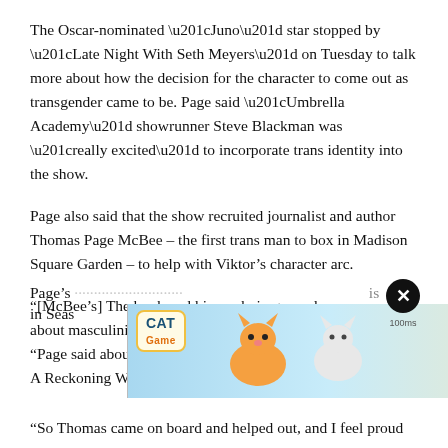The Oscar-nominated “Juno” star stopped by “Late Night With Seth Meyers” on Tuesday to talk more about how the decision for the character to come out as transgender came to be. Page said “Umbrella Academy” showrunner Steve Blackman was “really excited” to incorporate trans identity into the show.
Page also said that the show recruited journalist and author Thomas Page McBee – the first trans man to box in Madison Square Garden – to help with Viktor’s character arc.
“[McBee’s] The book and his work, in general, are so much about masculinity and what it means and exploring that, “Page said about the author-boxer’s 2018 memoir,” Amateur: A Reckoning With Gender, Identity, and Masculinity. “
Page’s [partial, cut off by ad] in Seas[on]
[Figure (screenshot): Advertisement banner for a mobile game called Cat Game, showing cartoon cats and the text ADOPT A CAT NOW with a dismiss button and info/close icons]
“So Thomas came on board and helped out, and I feel proud